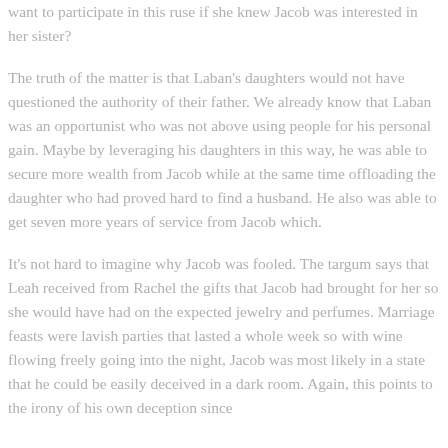want to participate in this ruse if she knew Jacob was interested in her sister?
The truth of the matter is that Laban's daughters would not have questioned the authority of their father. We already know that Laban was an opportunist who was not above using people for his personal gain. Maybe by leveraging his daughters in this way, he was able to secure more wealth from Jacob while at the same time offloading the daughter who had proved hard to find a husband. He also was able to get seven more years of service from Jacob which.
It's not hard to imagine why Jacob was fooled. The targum says that Leah received from Rachel the gifts that Jacob had brought for her so she would have had on the expected jewelry and perfumes. Marriage feasts were lavish parties that lasted a whole week so with wine flowing freely going into the night, Jacob was most likely in a state that he could be easily deceived in a dark room. Again, this points to the irony of his own deception since